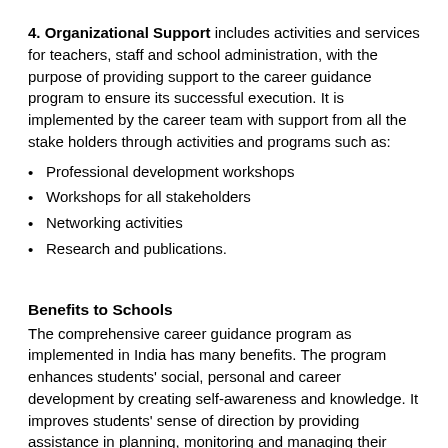4. Organizational Support includes activities and services for teachers, staff and school administration, with the purpose of providing support to the career guidance program to ensure its successful execution. It is implemented by the career team with support from all the stake holders through activities and programs such as:
Professional development workshops
Workshops for all stakeholders
Networking activities
Research and publications.
Benefits to Schools
The comprehensive career guidance program as implemented in India has many benefits. The program enhances students' social, personal and career development by creating self-awareness and knowledge. It improves students' sense of direction by providing assistance in planning, monitoring and managing their academic and career journey, It helps to develop individually unique plans, enhances students' self-efficacy by providing exploration opportunities,  encourages positive cooperative relations among